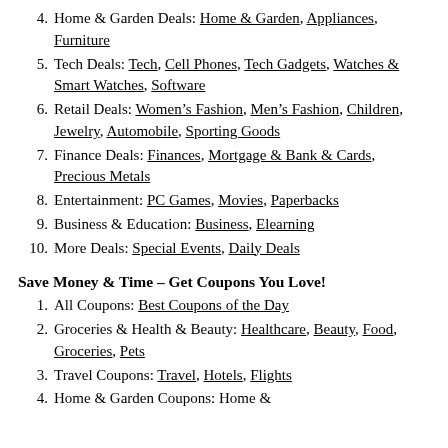4. Home & Garden Deals: Home & Garden, Appliances, Furniture
5. Tech Deals: Tech, Cell Phones, Tech Gadgets, Watches & Smart Watches, Software
6. Retail Deals: Women's Fashion, Men's Fashion, Children, Jewelry, Automobile, Sporting Goods
7. Finance Deals: Finances, Mortgage & Bank & Cards, Precious Metals
8. Entertainment: PC Games, Movies, Paperbacks
9. Business & Education: Business, Elearning
10. More Deals: Special Events, Daily Deals
Save Money & Time – Get Coupons You Love!
1. All Coupons: Best Coupons of the Day
2. Groceries & Health & Beauty: Healthcare, Beauty, Food, Groceries, Pets
3. Travel Coupons: Travel, Hotels, Flights
4. Home & Garden Coupons: Home &